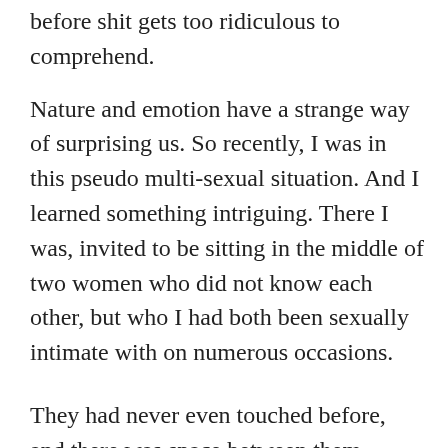before shit gets too ridiculous to comprehend.
Nature and emotion have a strange way of surprising us. So recently, I was in this pseudo multi-sexual situation. And I learned something intriguing. There I was, invited to be sitting in the middle of two women who did not know each other, but who I had both been sexually intimate with on numerous occasions.
They had never even touched before, and there was space between them before I showed up. I made a bridge between them. Next to the woman on the right was someone who I had many